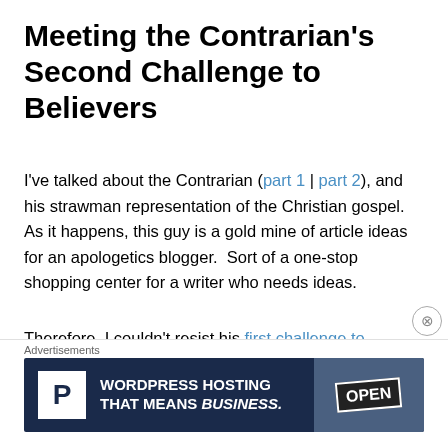Meeting the Contrarian's Second Challenge to Believers
I've talked about the Contrarian (part 1 | part 2), and his strawman representation of the Christian gospel.  As it happens, this guy is a gold mine of article ideas for an apologetics blogger.  Sort of a one-stop shopping center for a writer who needs ideas.
Therefore, I couldn't resist his first challenge to believers. I have no idea why I answered it.  Along with the second and third challenges, he proves he is only interested in grandstanding for an atheist audience
[Figure (other): Advertisement banner: WordPress Hosting That Means Business, with P logo icon and an OPEN sign photo on right side]